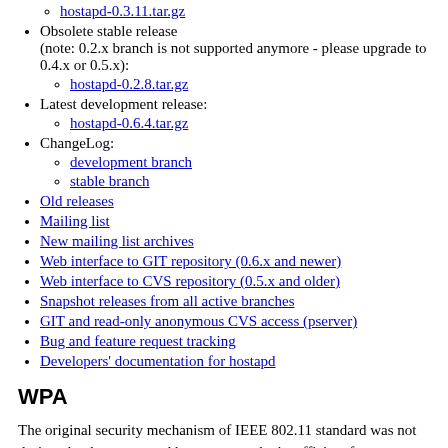hostapd-0.3.11.tar.gz (sub-item link)
Obsolete stable release (note: 0.2.x branch is not supported anymore - please upgrade to 0.4.x or 0.5.x):
hostapd-0.2.8.tar.gz (sub-item link)
Latest development release:
hostapd-0.6.4.tar.gz (sub-item link)
ChangeLog:
development branch (sub-item link)
stable branch (sub-item link)
Old releases
Mailing list
New mailing list archives
Web interface to GIT repository (0.6.x and newer)
Web interface to CVS repository (0.5.x and older)
Snapshot releases from all active branches
GIT and read-only anonymous CVS access (pserver)
Bug and feature request tracking
Developers' documentation for hostapd
WPA
The original security mechanism of IEEE 802.11 standard was not designed to be strong and has proven to be insufficient for most networks that require some kind of security. Task group I